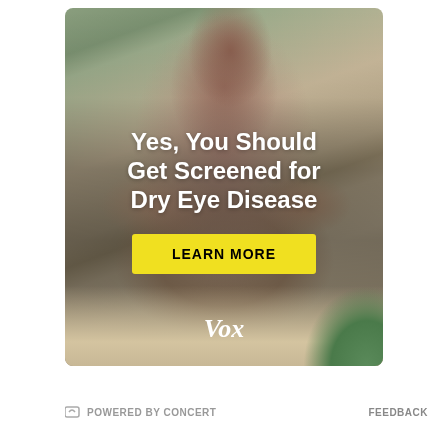[Figure (photo): Advertisement banner showing a woman rubbing her eyes/pinching nose bridge while holding glasses, sitting at a laptop. Text overlay reads 'Yes, You Should Get Screened for Dry Eye Disease' with a yellow 'LEARN MORE' button and Vox logo at bottom.]
POWERED BY CONCERT
FEEDBACK